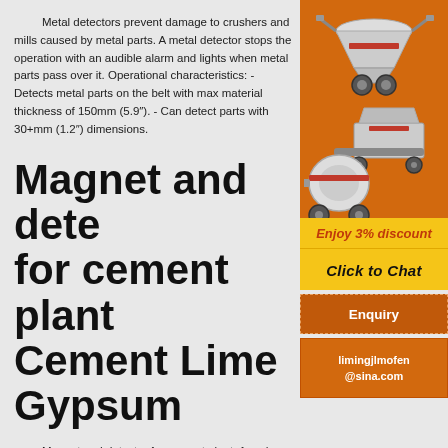Metal detectors prevent damage to crushers and mills caused by metal parts. A metal detector stops the operation with an audible alarm and lights when metal parts pass over it. Operational characteristics: - Detects metal parts on the belt with max material thickness of 150mm (5.9″). - Can detect parts with 30+mm (1.2″) dimensions.
Magnet and detector for cement plant - Cement Lime Gypsum
[Figure (photo): Advertisement showing industrial crushing and milling machinery (cone crusher, jaw crusher, ball mill) on orange background with 'Enjoy 3% discount' and 'Click to Chat' buttons, Enquiry section, and limingjlmofen@sina.com email.]
Magnet and detector for cement plant. 1 and detector in a cement plant. Eriez Europe launched Atex rated Permanent Suspended M and Metalarm Metal Detectors suitable for operation in some explosion risk or hazardous environments (Fig.1)